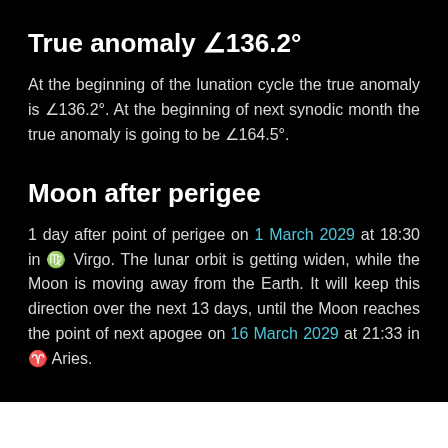True anomaly ∠136.2°
At the beginning of the lunation cycle the true anomaly is ∠136.2°. At the beginning of next synodic month the true anomaly is going to be ∠164.5°.
Moon after perigee
1 day after point of perigee on 1 March 2029 at 18:30 in ♍ Virgo. The lunar orbit is getting widen, while the Moon is moving away from the Earth. It will keep this direction over the next 13 days, until the Moon reaches the point of next apogee on 16 March 2029 at 21:33 in ♈ Aries.